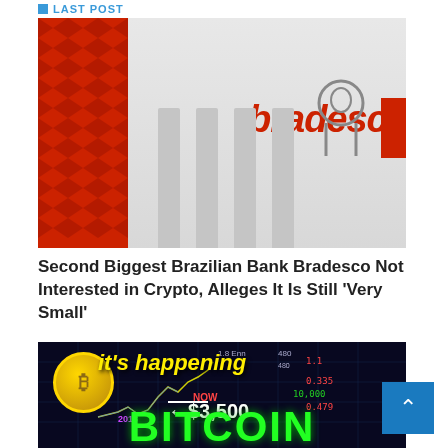LAST POST
[Figure (photo): Photo of Bradesco bank building exterior with red decorative wall pattern on left and large 'bradesco' logo in red on the facade]
Second Biggest Brazilian Bank Bradesco Not Interested in Crypto, Alleges It Is Still 'Very Small'
[Figure (photo): Thumbnail image with dark background showing Bitcoin coin, text 'it's happening', 'NOW $3,500', '2018', and large green 'BITCOIN' text at bottom, with man pointing at chart]